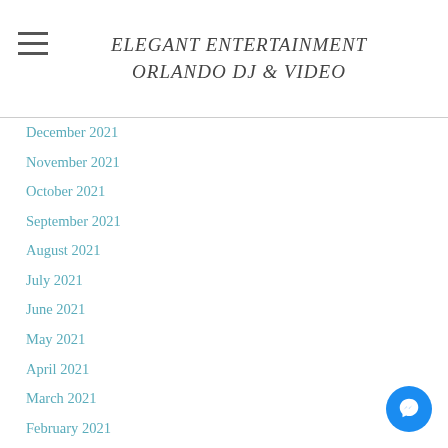ELEGANT ENTERTAINMENT ORLANDO DJ & VIDEO
December 2021
November 2021
October 2021
September 2021
August 2021
July 2021
June 2021
May 2021
April 2021
March 2021
February 2021
January 2021
December 2020
November 2020
October 2020
September 2020
August 2020
July 2020